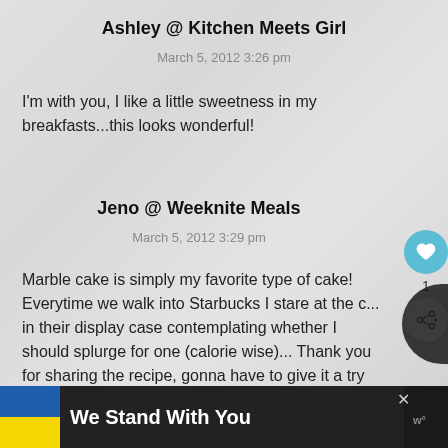Ashley @ Kitchen Meets Girl
March 5, 2012 3:26 pm
I'm with you, I like a little sweetness in my breakfasts...this looks wonderful!
Jeno @ Weeknite Meals
March 5, 2012 3:29 pm
Marble cake is simply my favorite type of cake! Everytime we walk into Starbucks I stare at the c... in their display case contemplating whether I should splurge for one (calorie wise)... Thank you for sharing the recipe, gonna have to give it a try soon!
We Stand With You